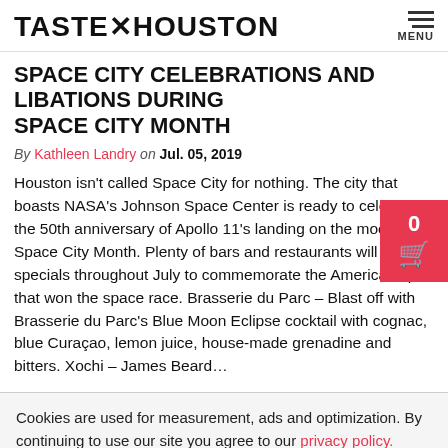TASTE × HOUSTON
SPACE CITY CELEBRATIONS AND LIBATIONS DURING SPACE CITY MONTH
By Kathleen Landry on Jul. 05, 2019
Houston isn't called Space City for nothing. The city that boasts NASA's Johnson Space Center is ready to celebrate the 50th anniversary of Apollo 11's landing on the moon with Space City Month. Plenty of bars and restaurants will have specials throughout July to commemorate the American spirit that won the space race. Brasserie du Parc – Blast off with Brasserie du Parc's Blue Moon Eclipse cocktail with cognac, blue Curaçao, lemon juice, house-made grenadine and bitters. Xochi – James Beard…
Cookies are used for measurement, ads and optimization. By continuing to use our site you agree to our privacy policy.